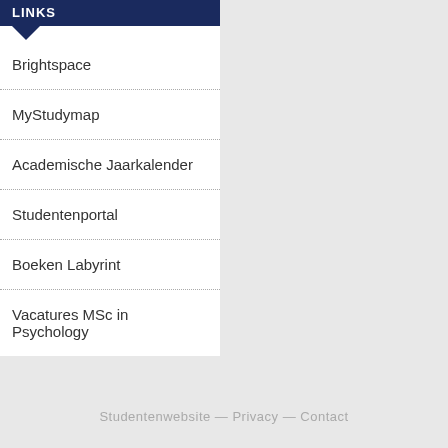LINKS
Brightspace
MyStudymap
Academische Jaarkalender
Studentenportal
Boeken Labyrint
Vacatures MSc in Psychology
Studentenwebsite — Privacy — Contact